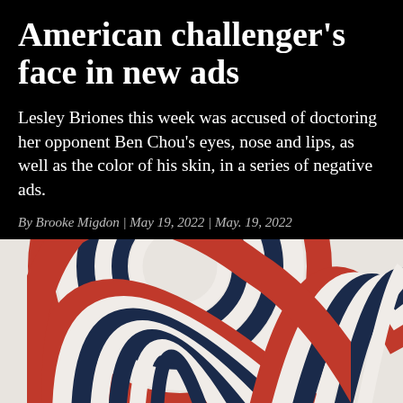American challenger's face in new ads
Lesley Briones this week was accused of doctoring her opponent Ben Chou's eyes, nose and lips, as well as the color of his skin, in a series of negative ads.
By Brooke Migdon | May 19, 2022 | May. 19, 2022
[Figure (photo): Patriotic American red, white and blue bunting/rosette decorations photographed against a light background]